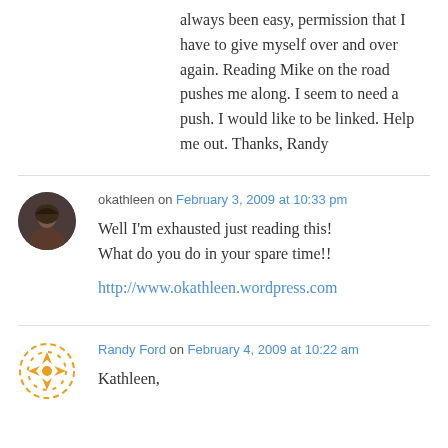always been easy, permission that I have to give myself over and over again. Reading Mike on the road pushes me along. I seem to need a push. I would like to be linked. Help me out. Thanks, Randy
okathleen on February 3, 2009 at 10:33 pm
Well I'm exhausted just reading this! What do you do in your spare time!!
http://www.okathleen.wordpress.com
Randy Ford on February 4, 2009 at 10:22 am
Kathleen,